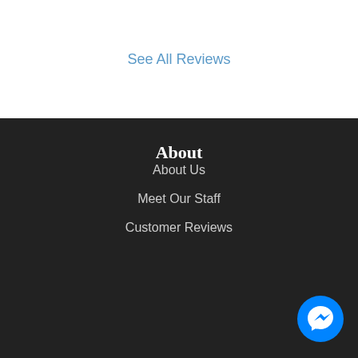See All Reviews
About
About Us
Meet Our Staff
Customer Reviews
[Figure (logo): Facebook Messenger chat button icon — blue circle with white speech bubble/lightning bolt messenger logo]